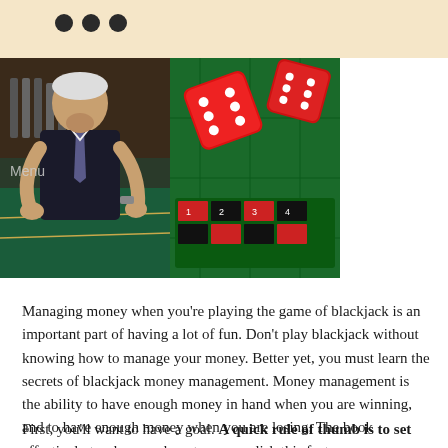Menu ···
[Figure (photo): Left side: man in dark suit leaning over a casino table smiling. Right side: red dice flying over a green casino table.]
Managing money when you're playing the game of blackjack is an important part of having a lot of fun. Don't play blackjack without knowing how to manage your money. Better yet, you must learn the secrets of blackjack money management. Money management is the ability to have enough money in hand when you are winning, and to have enough money when you are losing. The book effectively teaches you how to accomplish this feat.
First, you'll want to have a goal. A quick rule of thumb is to set